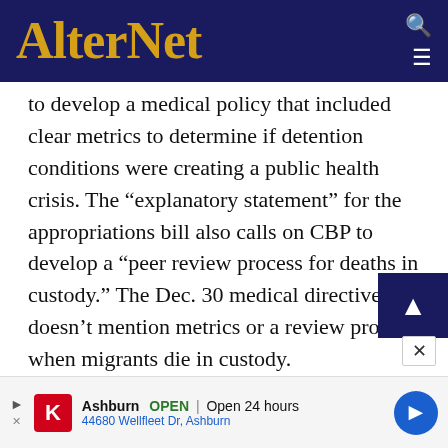AlterNet
to develop a medical policy that included clear metrics to determine if detention conditions were creating a public health crisis. The “explanatory statement” for the appropriations bill also calls on CBP to develop a “peer review process for deaths in custody.” The Dec. 30 medical directive doesn’t mention metrics or a review process when migrants die in custody.
The CBP spokesperson said the agency “is working with DHS headquarters, multiple